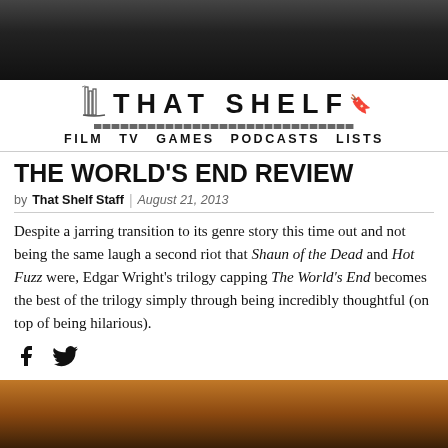[Figure (photo): Dark background photo at top of page, person in dark clothing]
[Figure (logo): That Shelf logo with stylized bookshelf graphic and navigation bar: FILM TV GAMES PODCASTS LISTS]
THE WORLD'S END REVIEW
by That Shelf Staff | August 21, 2013
Despite a jarring transition to its genre story this time out and not being the same laugh a second riot that Shaun of the Dead and Hot Fuzz were, Edgar Wright's trilogy capping The World's End becomes the best of the trilogy simply through being incredibly thoughtful (on top of being hilarious).
[Figure (photo): Close-up photo of a person's face with warm orange/brown tones]